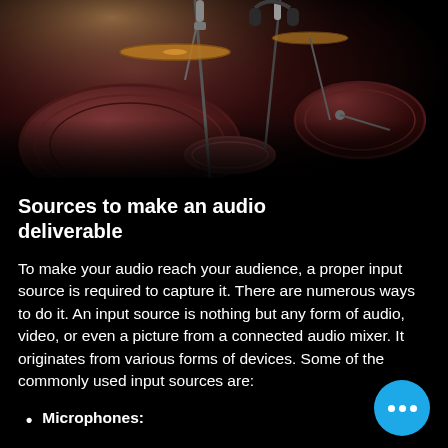[Figure (photo): Close-up photo of a drum kit with microphones and cymbal hardware in dark reddish-brown tones under stage lighting]
Sources to make an audio deliverable
To make your audio reach your audience, a proper input source is required to capture it. There are numerous ways to do it. An input source is nothing but any form of audio, video, or even a picture from a connected audio mixer. It originates from various forms of devices. Some of the commonly used input sources are:
Microphones: